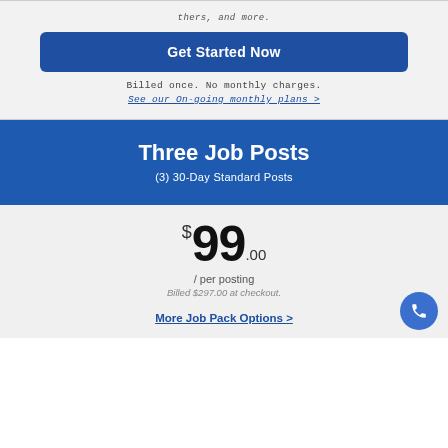thers, and more.
[Figure (other): Blue 'Get Started Now' button]
Billed once. No monthly charges.
See our On-going monthly plans >
Three Job Posts
(3) 30-Day Standard Posts
$99.00
/ per posting
Billed $297.00 at checkout.
More Job Pack Options >